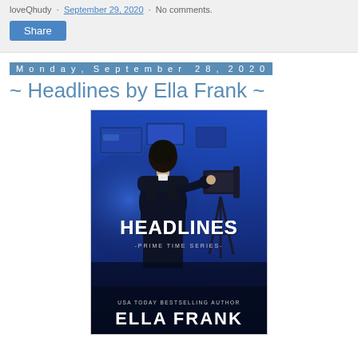loveQhudy · September 29, 2020 · No comments.
Share
Monday, September 28, 2020
~ Headlines by Ella Frank ~
[Figure (photo): Book cover for 'Headlines' by Ella Frank. Shows a man in a dark suit seen from behind, facing a TV news studio with screens and a camera on a tripod to the right. Large white bold text reads 'HEADLINES' in the center. Below that: '-PRIME TIME SERIES-'. At the bottom: 'USA TODAY BESTSELLING AUTHOR' and 'ELLA FRANK' in large white text. Blue-toned photography.]